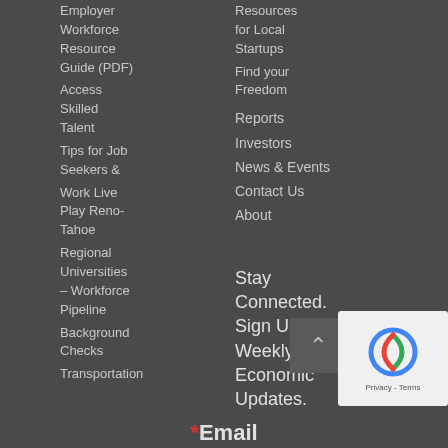Employer Workforce Resource Guide (PDF)
Access Skilled Talent
Tips for Job Seekers &
Work Live Play Reno-Tahoe
Regional Universities – Workforce Pipeline
Background Checks
Transportation
Resources for Local Startups
Find your Freedom
Reports
Investors
News & Events
Contact Us
About
Stay Connected. Sign Up For Weekly Economic Updates.
* Email